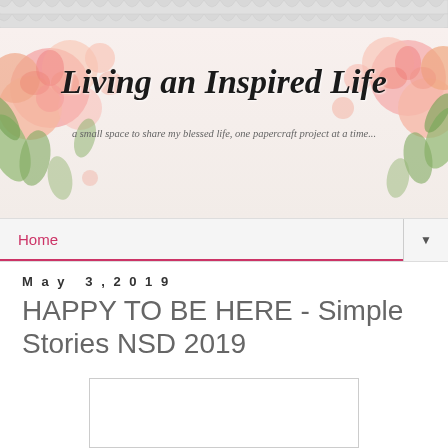[Figure (illustration): Scallop/fish-scale pattern background in light gray at top of page]
[Figure (illustration): Blog header banner with floral watercolor decorations (pink/peach roses and green leaves) on left and right sides, with blog title 'Living an Inspired Life' in large italic script font and subtitle text below]
Home
May 3, 2019
HAPPY TO BE HERE - Simple Stories NSD 2019
[Figure (photo): White/blank image placeholder box]